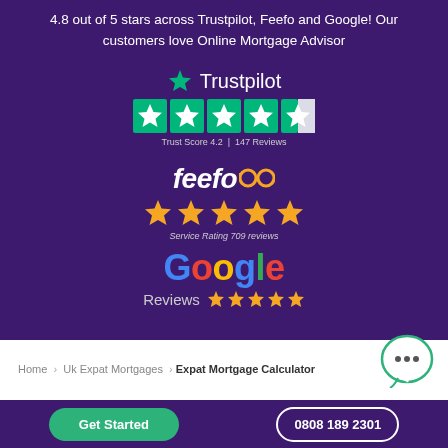4.8 out of 5 stars across Trustpilot, Feefo and Google! Our customers love Online Mortgage Advisor
[Figure (logo): Trustpilot logo with green star, 4 full green stars and 1 half star rating boxes, Trust Score 4.2 | 147 Reviews]
[Figure (logo): Feefo logo in white italic bold text with glasses icon, 5 yellow stars, Service Rating 709 reviews]
[Figure (logo): Google logo in multicolor letters with Reviews text and 5 yellow stars]
Home > Uk Expat Mortgages > Expat Mortgage Calculator
Get Started
0808 189 2301